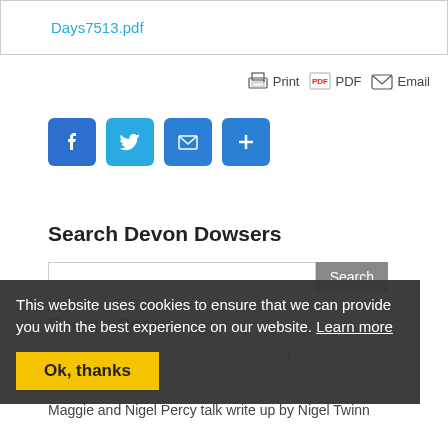Days7513.pdf
[Figure (screenshot): Print, PDF, Email toolbar icons with labels]
[Figure (screenshot): Social media share buttons: Facebook, Twitter, Email, Share/Plus]
Search Devon Dowsers
[Figure (screenshot): Search input box with Search button]
Recent Posts
Introduction to dowsing course October 2022
DD Programme 2022 dates
Maggie and Nigel Percy talk write up by Nigel Twinn
This website uses cookies to ensure that we can provide you with the best experience on our website. Learn more
Ok, thanks